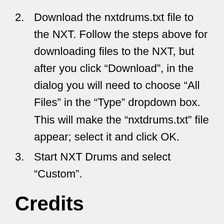2. Download the nxtdrums.txt file to the NXT. Follow the steps above for downloading files to the NXT, but after you click “Download”, in the dialog you will need to choose “All Files” in the “Type” dropdown box. This will make the “nxtdrums.txt” file appear; select it and click OK.
3. Start NXT Drums and select “Custom”.
Credits
This game was inspired by a mini game in Rhythm Tengoku. Bass drum sound by Minorr